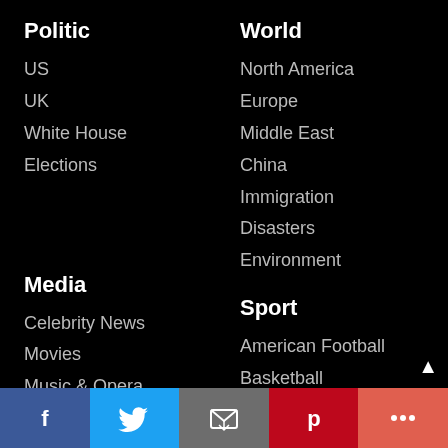Politic
US
UK
White House
Elections
World
North America
Europe
Middle East
China
Immigration
Disasters
Environment
Media
Celebrity News
Movies
Music & Opera
Shows
Oscar
Sport
American Football
Basketball
Soccer
Tennis
Business
Science